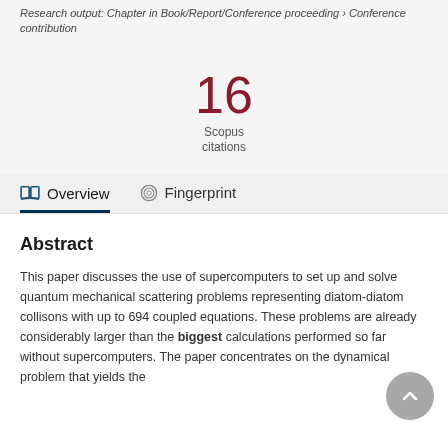Research output: Chapter in Book/Report/Conference proceeding › Conference contribution
16
Scopus
citations
Overview
Fingerprint
Abstract
This paper discusses the use of supercomputers to set up and solve quantum mechanical scattering problems representing diatom-diatom collisons with up to 694 coupled equations. These problems are already considerably larger than the biggest calculations performed so far without supercomputers. The paper concentrates on the dynamical problem that yields the